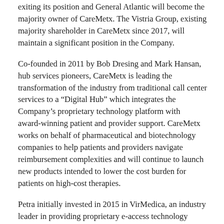exiting its position and General Atlantic will become the majority owner of CareMetx. The Vistria Group, existing majority shareholder in CareMetx since 2017, will maintain a significant position in the Company.
Co-founded in 2011 by Bob Dresing and Mark Hansan, hub services pioneers, CareMetx is leading the transformation of the industry from traditional call center services to a “Digital Hub” which integrates the Company’s proprietary technology platform with award-winning patient and provider support. CareMetx works on behalf of pharmaceutical and biotechnology companies to help patients and providers navigate reimbursement complexities and will continue to launch new products intended to lower the cost burden for patients on high-cost therapies.
Petra initially invested in 2015 in VirMedica, an industry leader in providing proprietary e-access technology solutions designed to expedite patient access. In 2018, CareMetx merged with VirMedica and Petra became an equity partner of CareMetx.